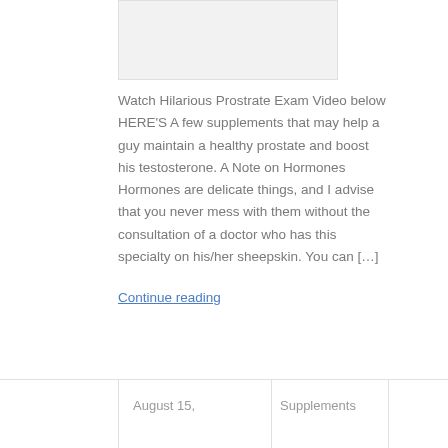[Figure (photo): Image placeholder at top of article]
Watch Hilarious Prostrate Exam Video below HERE’S A few supplements that may help a guy maintain a healthy prostate and boost his testosterone. A Note on Hormones Hormones are delicate things, and I advise that you never mess with them without the consultation of a doctor who has this specialty on his/her sheepskin. You can […]
Continue reading
August 15,
Supplements